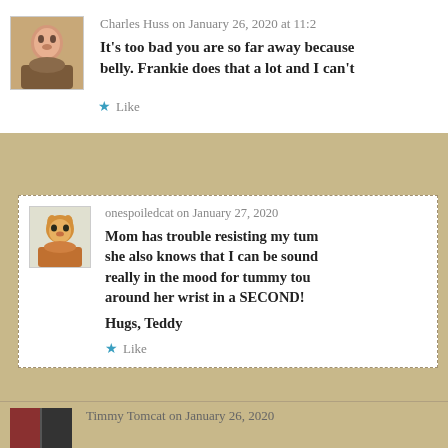Charles Huss on January 26, 2020 at 11:2
It's too bad you are so far away because belly. Frankie does that a lot and I can't
Like
onespoiledcat on January 27, 2020
Mom has trouble resisting my tum she also knows that I can be sound really in the mood for tummy tou around her wrist in a SECOND!
Hugs, Teddy
Like
Timmy Tomcat on January 26, 2020